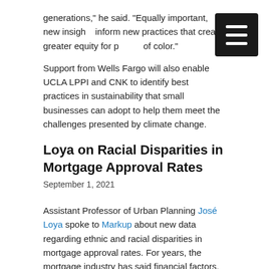generations," he said. "Equally important, new insights inform new practices that create greater equity for people of color."
Support from Wells Fargo will also enable UCLA LPPI and CNK to identify best practices in sustainability that small businesses can adopt to help them meet the challenges presented by climate change.
Loya on Racial Disparities in Mortgage Approval Rates
September 1, 2021
Assistant Professor of Urban Planning José Loya spoke to Markup about new data regarding ethnic and racial disparities in mortgage approval rates. For years, the mortgage industry has said financial factors, such as credit score and debt as a percentage of income, explain any